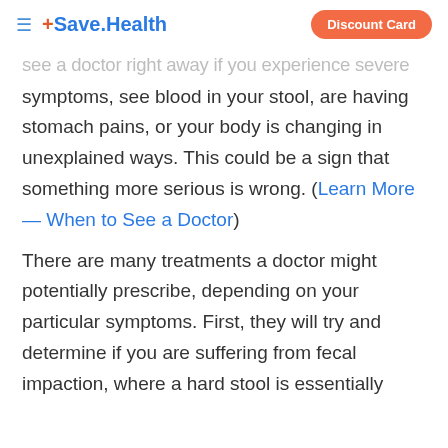≡ +Save.Health  Discount Card
see a doctor right away if you experience severe symptoms, see blood in your stool, are having stomach pains, or your body is changing in unexplained ways. This could be a sign that something more serious is wrong. (Learn More — When to See a Doctor)
There are many treatments a doctor might potentially prescribe, depending on your particular symptoms. First, they will try and determine if you are suffering from fecal impaction, where a hard stool is essentially